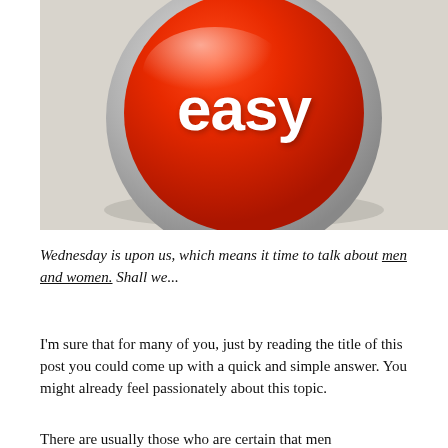[Figure (photo): A red easy button with white text reading 'easy', set on a gray background. The button has a metallic rim and a glossy, domed surface.]
Wednesday is upon us, which means it time to talk about men and women. Shall we...
I'm sure that for many of you, just by reading the title of this post you could come up with a quick and simple answer. You might already feel passionately about this topic.
There are usually those who are certain that men